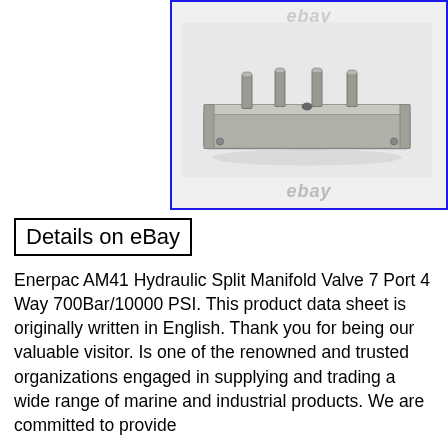[Figure (photo): Enerpac AM41 Hydraulic Split Manifold Valve - a rectangular metal bar with four cylindrical ports/fittings protruding from the top, shown on a white background with 'ebay' watermark]
Details on eBay
Enerpac AM41 Hydraulic Split Manifold Valve 7 Port 4 Way 700Bar/10000 PSI. This product data sheet is originally written in English. Thank you for being our valuable visitor. Is one of the renowned and trusted organizations engaged in supplying and trading a wide range of marine and industrial products. We are committed to provide